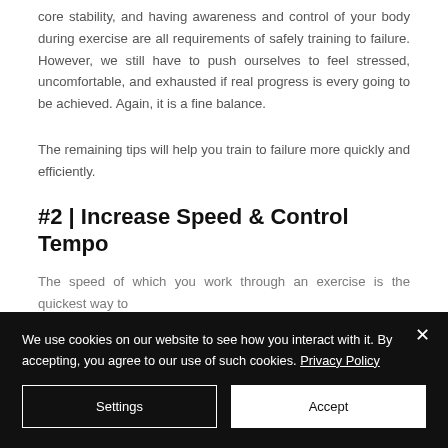core stability, and having awareness and control of your body during exercise are all requirements of safely training to failure. However, we still have to push ourselves to feel stressed, uncomfortable, and exhausted if real progress is every going to be achieved. Again, it is a fine balance.
The remaining tips will help you train to failure more quickly and efficiently.
#2 | Increase Speed & Control Tempo
The speed of which you work through an exercise is the quickest way to
We use cookies on our website to see how you interact with it. By accepting, you agree to our use of such cookies. Privacy Policy